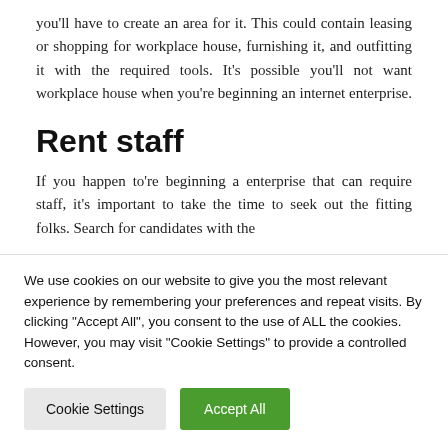you'll have to create an area for it. This could contain leasing or shopping for workplace house, furnishing it, and outfitting it with the required tools. It's possible you'll not want workplace house when you're beginning an internet enterprise.
Rent staff
If you happen to're beginning a enterprise that can require staff, it's important to take the time to seek out the fitting folks. Search for candidates with the
We use cookies on our website to give you the most relevant experience by remembering your preferences and repeat visits. By clicking "Accept All", you consent to the use of ALL the cookies. However, you may visit "Cookie Settings" to provide a controlled consent.